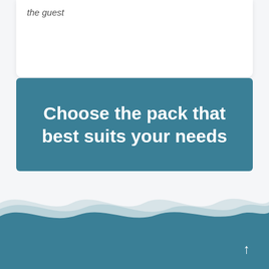the guest
Choose the pack that best suits your needs
[Figure (illustration): Wave illustration in teal/blue tones forming the bottom section of the page, with a teal ocean-like fill below the waves and an upward arrow icon at the bottom right.]